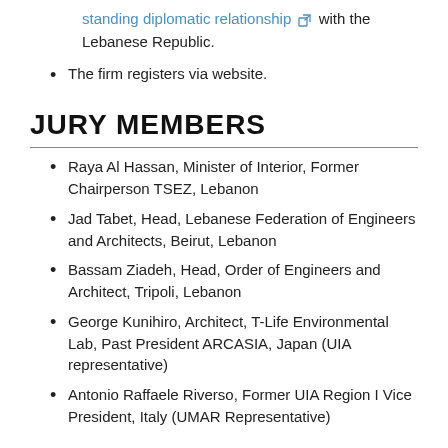standing diplomatic relationship with the Lebanese Republic.
The firm registers via website.
JURY MEMBERS
Raya Al Hassan, Minister of Interior, Former Chairperson TSEZ, Lebanon
Jad Tabet, Head, Lebanese Federation of Engineers and Architects, Beirut, Lebanon
Bassam Ziadeh, Head, Order of Engineers and Architect, Tripoli, Lebanon
George Kunihiro, Architect, T-Life Environmental Lab, Past President ARCASIA, Japan (UIA representative)
Antonio Raffaele Riverso, Former UIA Region I Vice President, Italy (UMAR Representative)